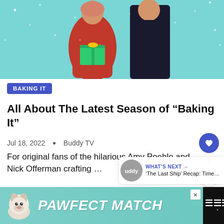[Figure (photo): Two people (woman in red dress, man in dark outfit) on a light blue snowy background, cropped at waist/torso level]
BAKING IT
All About The Latest Season of “Baking It”
Jul 18, 2022 • Buddy TV
For original fans of the hilarious Amy Poehle and Nick Offerman crafting …
WHAT’S NEXT → ‘The Last Ship’ Recap: Time…
[Figure (screenshot): PAWFECT MATCH advertisement banner with dog illustration]